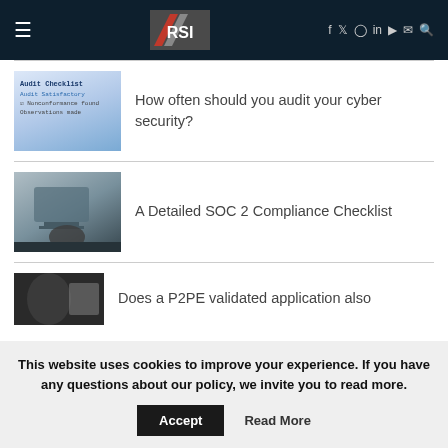RSI
[Figure (photo): Audit checklist document with handwriting]
How often should you audit your cyber security?
[Figure (photo): Person working at computer with monitors]
A Detailed SOC 2 Compliance Checklist
[Figure (photo): Partial image, person with document]
Does a P2PE validated application also
This website uses cookies to improve your experience. If you have any questions about our policy, we invite you to read more.
Accept   Read More